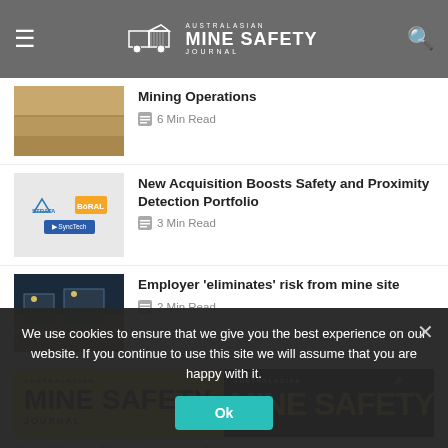[Figure (logo): Australasian Mine Safety Journal logo with truck icon, hamburger menu icon, and search icon on grey header bar]
Mining Operations
6 Min Read
New Acquisition Boosts Safety and Proximity Detection Portfolio
3 Min Read
Employer 'eliminates' risk from mine site
2 Min Read
[Figure (illustration): Australasian Mine Safety Journal banner advertisement showing yellow and dark background with MINE SAFETY text]
Privacy & Cookies: This site uses cookies. By continuing to use this
We use cookies to ensure that we give you the best experience on our website. If you continue to use this site we will assume that you are happy with it.
Ok